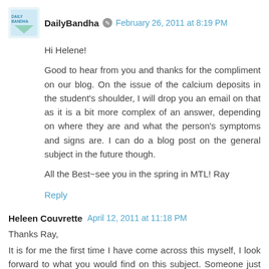DailyBandha — February 26, 2011 at 8:19 PM
Hi Helene!

Good to hear from you and thanks for the compliment on our blog. On the issue of the calcium deposits in the student's shoulder, I will drop you an email on that as it is a bit more complex of an answer, depending on where they are and what the person's symptoms and signs are. I can do a blog post on the general subject in the future though.

All the Best~see you in the spring in MTL! Ray
Reply
Heleen Couvrette — April 12, 2011 at 11:18 PM
Thanks Ray,
It is for me the first time I have come across this myself, I look forward to what you would find on this subject. Someone just emailed me to inquire about this all the way from San Juan!